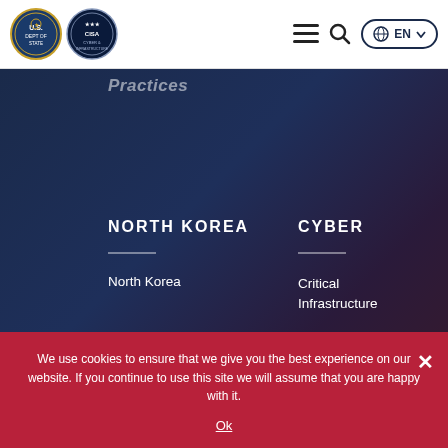[Figure (logo): US Department of State seal (blue circle with eagle emblem)]
[Figure (logo): Cybersecurity and Infrastructure Security Agency (CISA) seal]
≡  🔍  🌐 EN ∨
Practices
NORTH KOREA
North Korea
CYBER
Critical Infrastructure
Critical
We use cookies to ensure that we give you the best experience on our website. If you continue to use this site we will assume that you are happy with it.
Ok